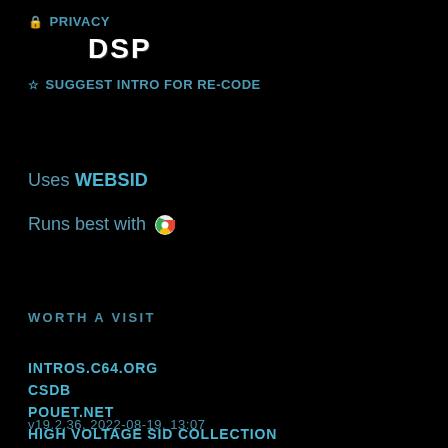🔒 PRIVACY
[Figure (logo): DSP logo in white bold stylized text]
☆ SUGGEST INTRO FOR RE-CODE
Uses WEBSID
Runs best with [Chrome icon]
WORTH A VISIT
INTROS.C64.ORG
CSDB
POUET.NET
HIGH VOLTAGE SID COLLECTION
FLASHTRO.COM
ONSLAUGHT.C64.ORG
VANDALISM.NEWS
v19.2.36, 2022-08-19, 13:07